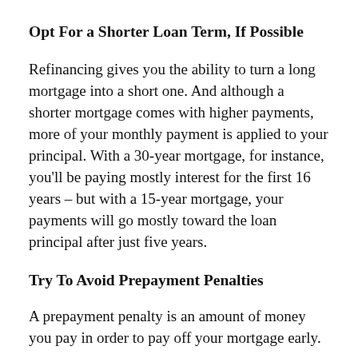Opt For a Shorter Loan Term, If Possible
Refinancing gives you the ability to turn a long mortgage into a short one. And although a shorter mortgage comes with higher payments, more of your monthly payment is applied to your principal. With a 30-year mortgage, for instance, you’ll be paying mostly interest for the first 16 years – but with a 15-year mortgage, your payments will go mostly toward the loan principal after just five years.
Try To Avoid Prepayment Penalties
A prepayment penalty is an amount of money you pay in order to pay off your mortgage early.